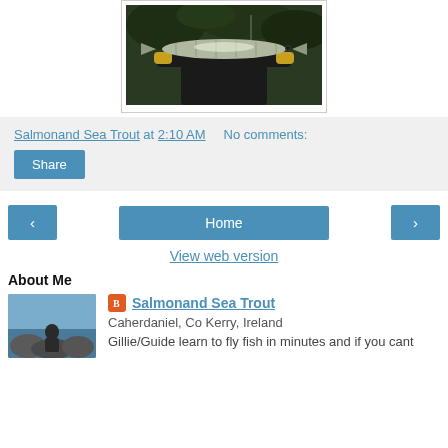[Figure (photo): Person holding a large fish (pike/muskie) with yellow gloves, standing in front of green grass/bushes]
Salmonand Sea Trout at 2:10 AM    No comments:
Share
‹   Home   ›
View web version
About Me
[Figure (photo): Profile photo of person fishing on rocky coast]
Salmonand Sea Trout
Caherdaniel, Co Kerry, Ireland
Gillie/Guide learn to fly fish in minutes and if you cant